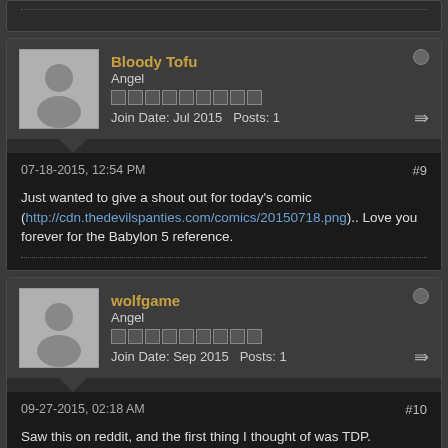Bloody Tofu — Angel — Join Date: Jul 2015  Posts: 1
07-18-2015, 12:54 PM  #9
Just wanted to give a shout out for today's comic (http://cdn.thedevilspanties.com/comics/20150718.png).. Love you forever for the Babylon 5 reference.
wolfgame — Angel — Join Date: Sep 2015  Posts: 1
09-27-2015, 02:18 AM  #10
Saw this on reddit, and the first thing I thought of was TDP.